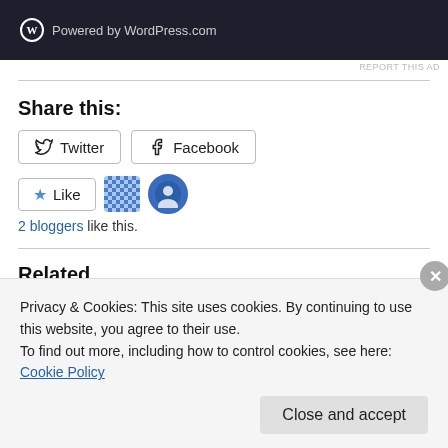[Figure (screenshot): WordPress.com powered banner — dark navy background with WordPress circle logo and 'Powered by WordPress.com' text]
REPORT THIS AD
Share this:
Twitter   Facebook
Like   [avatar icons]   2 bloggers like this.
Related
Privacy & Cookies: This site uses cookies. By continuing to use this website, you agree to their use.
To find out more, including how to control cookies, see here: Cookie Policy
Close and accept